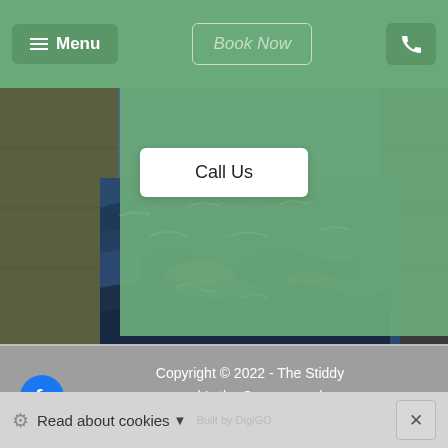≡ Menu | Book Now | [phone icon]
Call Us
[Figure (photo): Ocean waves with choppy dark blue and brown water, pier/wall visible at left and right edges]
Copyright © 2022 - The Stiddy and Lythe Caravan and Camping
Read about cookies ▼
Built by DigiGO
✕